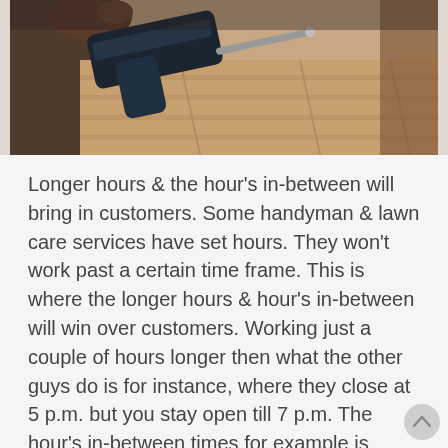[Figure (photo): A power drill being used on wooden flooring or boards, photographed from above with a warm, sepia-toned color palette. A hand holds the drill which is positioned on light-colored wood panels.]
Longer hours & the hour's in-between will bring in customers. Some handyman & lawn care services have set hours. They won't work past a certain time frame. This is where the longer hours & hour's in-between will win over customers. Working just a couple of hours longer then what the other guys do is for instance, where they close at 5 p.m. but you stay open till 7 p.m. The hour's in-between times for example is when the other guys are taking a lunch break you work or